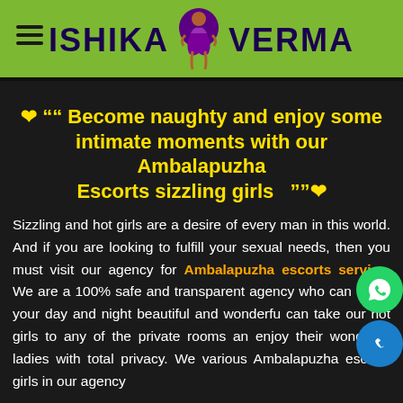ISHIKA VERMA
❤ ““ Become naughty and enjoy some intimate moments with our Ambalapuzha Escorts sizzling girls ”” ❤
Sizzling and hot girls are a desire of every man in this world. And if you are looking to fulfill your sexual needs, then you must visit our agency for Ambalapuzha escorts service. We are a 100% safe and transparent agency who can make your day and night beautiful and wonderful. You can take our hot girls to any of the private rooms and can enjoy their wonderful ladies with total privacy. We various Ambalapuzha escorts girls in our agency